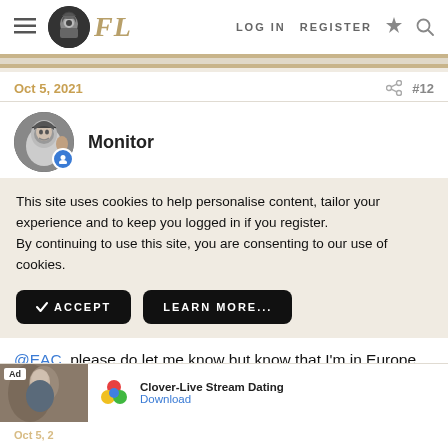FL  LOG IN  REGISTER
Oct 5, 2021  #12
Monitor
This site uses cookies to help personalise content, tailor your experience and to keep you logged in if you register.
By continuing to use this site, you are consenting to our use of cookies.
@EAC, please do let me know but know that I'm in Europe.
[Figure (screenshot): Ad banner: Clover-Live Stream Dating app advertisement with Download link]